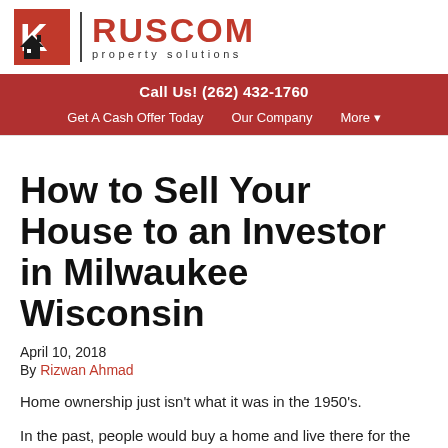Ruscom Property Solutions — Call Us! (262) 432-1760 | Get A Cash Offer Today | Our Company | More
How to Sell Your House to an Investor in Milwaukee Wisconsin
April 10, 2018
By Rizwan Ahmad
Home ownership just isn't what it was in the 1950's.
In the past, people would buy a home and live there for the rest of their lives, often passing it on to their family.